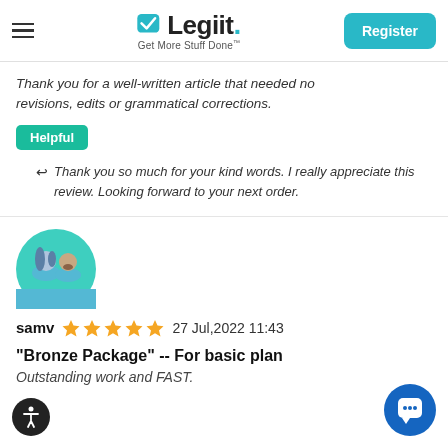Legiit — Get More Stuff Done
Thank you for a well-written article that needed no revisions, edits or grammatical corrections.
Helpful
Thank you so much for your kind words. I really appreciate this review. Looking forward to your next order.
[Figure (illustration): Two person avatar icon in teal circle]
samv ★★★★★ 27 Jul,2022 11:43
"Bronze Package" -- For basic plan
Outstanding work and FAST.